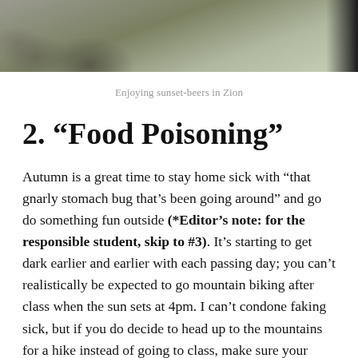[Figure (photo): Outdoor photo showing rocks and vegetation, partial view of people, sunset scene in Zion]
Enjoying sunset-beers in Zion
2. “Food Poisoning”
Autumn is a great time to stay home sick with “that gnarly stomach bug that’s been going around” and go do something fun outside (*Editor’s note: for the responsible student, skip to #3). It’s starting to get dark earlier and earlier with each passing day; you can’t realistically be expected to go mountain biking after class when the sun sets at 4pm. I can’t condone faking sick, but if you do decide to head up to the mountains for a hike instead of going to class, make sure your